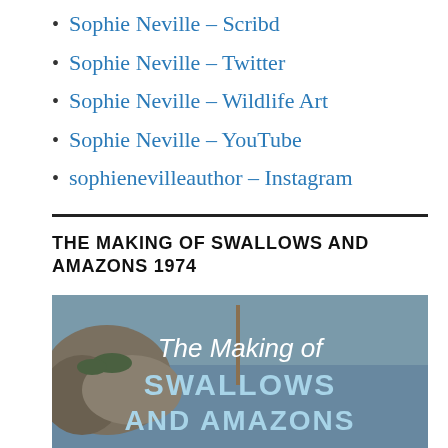Sophie Neville – Scribd
Sophie Neville – Twitter
Sophie Neville – Wildlife Art
Sophie Neville – YouTube
sophienevilleauthor – Instagram
THE MAKING OF SWALLOWS AND AMAZONS 1974
[Figure (photo): Book cover image showing 'The Making of SWALLOWS AND AMAZONS' text over a scenic lake/outdoor background with rocks and water]